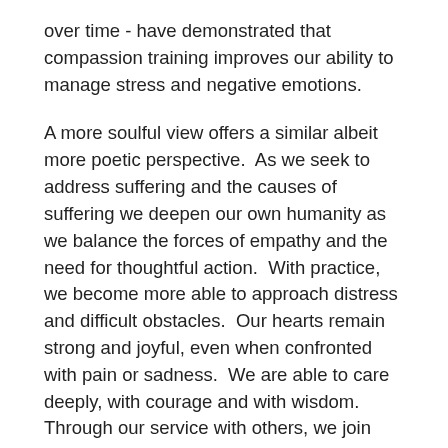over time - have demonstrated that compassion training improves our ability to manage stress and negative emotions.
A more soulful view offers a similar albeit more poetic perspective.  As we seek to address suffering and the causes of suffering we deepen our own humanity as we balance the forces of empathy and the need for thoughtful action.  With practice, we become more able to approach distress and difficult obstacles.  Our hearts remain strong and joyful, even when confronted with pain or sadness.  We are able to care deeply, with courage and with wisdom.  Through our service with others, we join into an intricate tapestry of care, weaving a bright cloak of goodness and grace that carries with it the best of each of us.  And then we carry that cloak out into the world, spreading it as far as we can.
Whether we resonate with science or with the soul, it is clear that cultivating habits of wellness is essential for the long-term well-